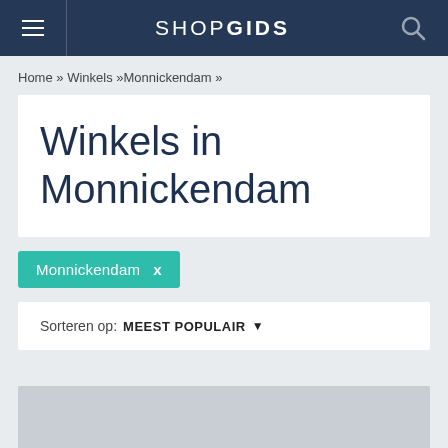SHOPGIDS
Home » Winkels »Monnickendam »
Winkels in Monnickendam
Monnickendam  ×
Sorteren op: MEEST POPULAIR ▾